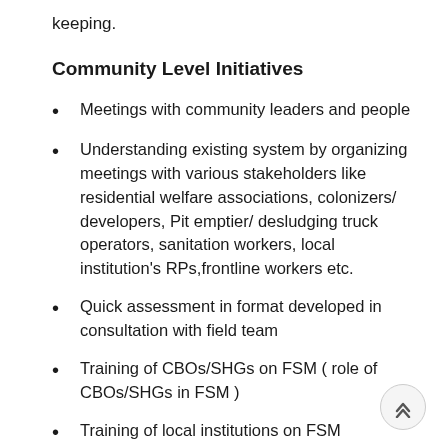keeping.
Community Level Initiatives
Meetings with community leaders and people
Understanding existing system by organizing meetings with various stakeholders like residential welfare associations, colonizers/developers, Pit emptier/ desludging truck operators, sanitation workers, local institution's RPs,frontline workers etc.
Quick assessment in format developed in consultation with field team
Training of CBOs/SHGs on FSM ( role of CBOs/SHGs in FSM )
Training of local institutions on FSM